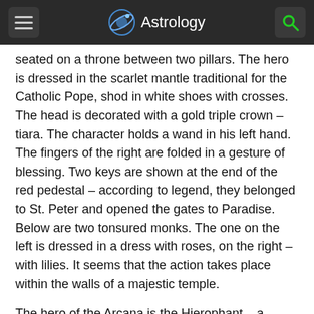Astrology
seated on a throne between two pillars. The hero is dressed in the scarlet mantle traditional for the Catholic Pope, shod in white shoes with crosses. The head is decorated with a gold triple crown – tiara. The character holds a wand in his left hand. The fingers of the right are folded in a gesture of blessing. Two keys are shown at the end of the red pedestal – according to legend, they belonged to St. Peter and opened the gates to Paradise. Below are two tonsured monks. The one on the left is dressed in a dress with roses, on the right – with lilies. It seems that the action takes place within the walls of a majestic temple.
The hero of the Arcana is the Hierophant – a spiritual mentor, a high priest. He is the conductor of God's will on earth. Even the location of the main figure and his wards hints at a strict hierarchy – the character is one step higher than the others. The fifth Tarot card is like a reflection of